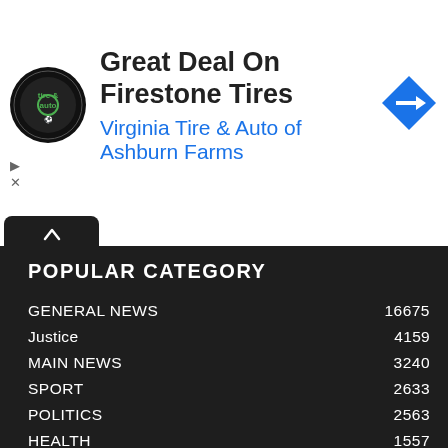[Figure (other): Advertisement banner for Virginia Tire & Auto of Ashburn Farms, featuring their logo and a navigation/map icon, promoting a great deal on Firestone Tires.]
POPULAR CATEGORY
GENERAL NEWS  16675
Justice  4159
MAIN NEWS  3240
SPORT  2633
POLITICS  2563
HEALTH  1557
BUSINESS  1553
WORLD  920